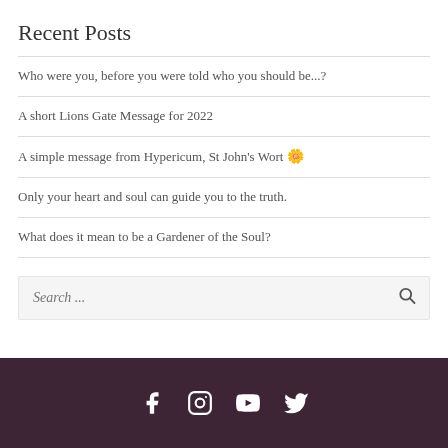Recent Posts
Who were you, before you were told who you should be...?
A short Lions Gate Message for 2022
A simple message from Hypericum, St John's Wort 🌼
Only your heart and soul can guide you to the truth.
What does it mean to be a Gardener of the Soul?
Search ...
Social media icons: Facebook, Instagram, YouTube, Twitter